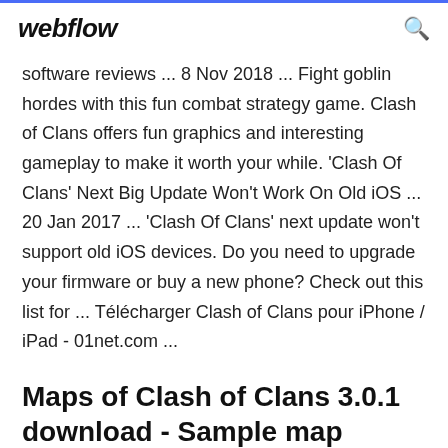webflow
software reviews ... 8 Nov 2018 ... Fight goblin hordes with this fun combat strategy game. Clash of Clans offers fun graphics and interesting gameplay to make it worth your while. 'Clash Of Clans' Next Big Update Won't Work On Old iOS ... 20 Jan 2017 ... 'Clash Of Clans' next update won't support old iOS devices. Do you need to upgrade your firmware or buy a new phone? Check out this list for ... Télécharger Clash of Clans pour iPhone / iPad - 01net.com ...
Maps of Clash of Clans 3.0.1 download - Sample map designs